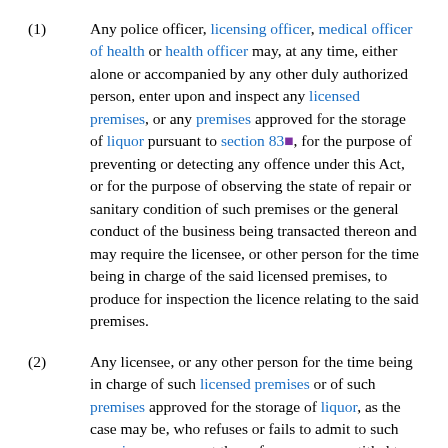(1) Any police officer, licensing officer, medical officer of health or health officer may, at any time, either alone or accompanied by any other duly authorized person, enter upon and inspect any licensed premises, or any premises approved for the storage of liquor pursuant to section 83, for the purpose of preventing or detecting any offence under this Act, or for the purpose of observing the state of repair or sanitary condition of such premises or the general conduct of the business being transacted thereon and may require the licensee, or other person for the time being in charge of the said licensed premises, to produce for inspection the licence relating to the said premises.
(2) Any licensee, or any other person for the time being in charge of such licensed premises or of such premises approved for the storage of liquor, as the case may be, who refuses or fails to admit to such premises or any part thereof, any person entitled to enter upon such premises under subsection (1), or refuses or fails to produce such licence on the demand of such person or who refuses, or fails to